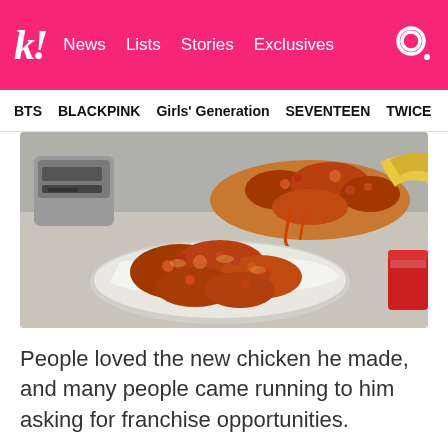k! News Lists Stories Exclusives
BTS  BLACKPINK  Girls' Generation  SEVENTEEN  TWICE
[Figure (photo): Close-up photo of Korean fried chicken glazed with spicy-sweet sauce, served on white paper in metal trays, with a rice cooker visible in the background and a cola can on the right]
People loved the new chicken he made, and many people came running to him asking for franchise opportunities.